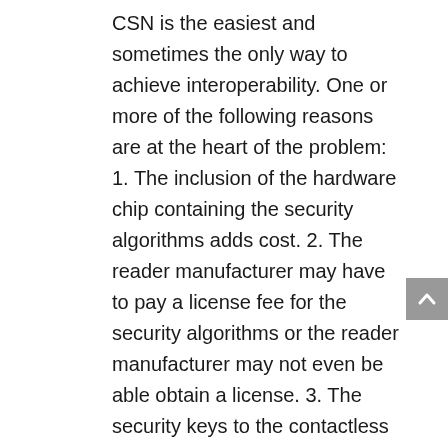CSN is the easiest and sometimes the only way to achieve interoperability. One or more of the following reasons are at the heart of the problem: 1. The inclusion of the hardware chip containing the security algorithms adds cost. 2. The reader manufacturer may have to pay a license fee for the security algorithms or the reader manufacturer may not even be able obtain a license. 3. The security keys to the contactless smart cards are not available. Using a low-cost, universal reader that does not avail itself of the security features that contactless smart cards offer will compromise the security of the facility or area where it is used. As noted earlier, the three major reasons to use contactless smart cards are security, convenience, and interoperability. Figure 3 illustrates how using the CSN compromises these three key reasons. Diagram C: Using Smart Card with CSN Reduces Security Security Convenience Interoperability Using Smart Card